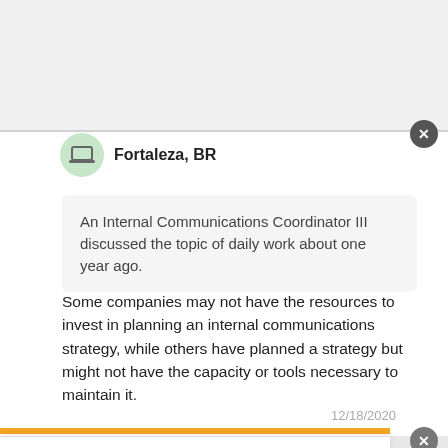Fortaleza, BR
An Internal Communications Coordinator III discussed the topic of daily work about one year ago.
Some companies may not have the resources to invest in planning an internal communications strategy, while others have planned a strategy but might not have the capacity or tools necessary to maintain it.
12/18/2020
This site uses cookies and other similar technologies to provide site functionality, analyze traffic and usage, and